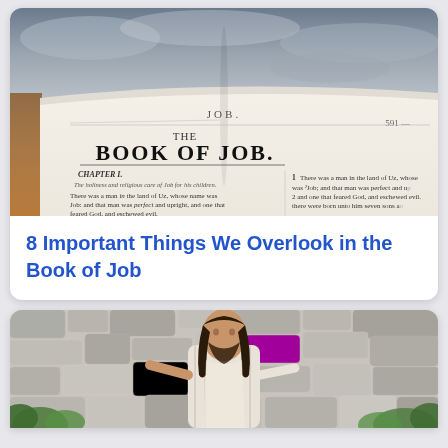[Figure (photo): Open Bible showing the Book of Job chapter heading with text, against a stormy sky background]
8 Important Things We Overlook in the Book of Job
[Figure (photo): Person dressed as Jesus standing in front of a stone wall with green plants]